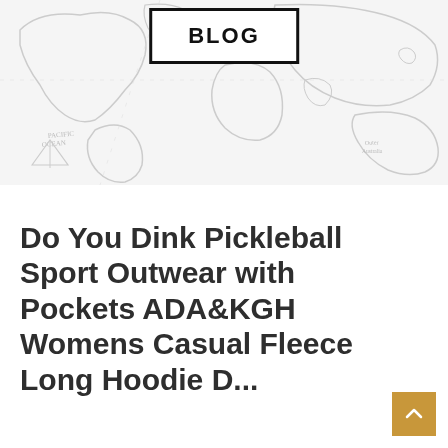[Figure (illustration): World map outline in light gray serving as decorative background banner with continents and handwritten-style labels including PACIFIC OCEAN]
BLOG
Do You Dink Pickleball Sport Outwear with Pockets ADA&KGH Womens Casual Fleece Long Hoodie D...